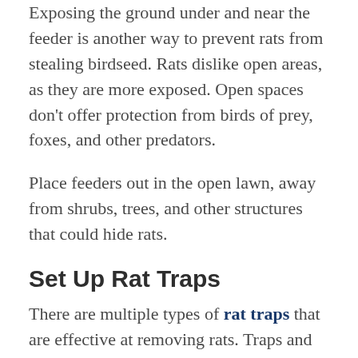Exposing the ground under and near the feeder is another way to prevent rats from stealing birdseed. Rats dislike open areas, as they are more exposed. Open spaces don't offer protection from birds of prey, foxes, and other predators.
Place feeders out in the open lawn, away from shrubs, trees, and other structures that could hide rats.
Set Up Rat Traps
There are multiple types of rat traps that are effective at removing rats. Traps and baits for rats include:
Bait Boxes: These traps contain rat poisons and are easy to use and